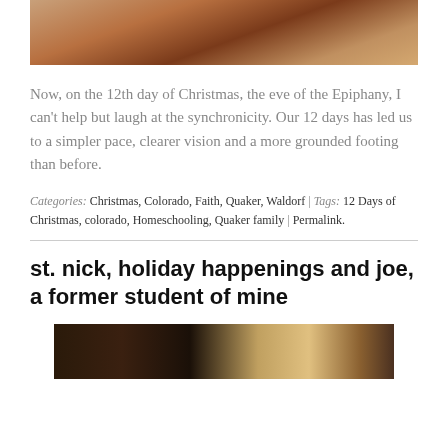[Figure (photo): Blurred photo of wooden floor with warm brown and red tones, partially cropped at top of page]
Now, on the 12th day of Christmas, the eve of the Epiphany, I can't help but laugh at the synchronicity. Our 12 days has led us to a simpler pace, clearer vision and a more grounded footing than before.
Categories: Christmas, Colorado, Faith, Quaker, Waldorf | Tags: 12 Days of Christmas, colorado, Homeschooling, Quaker family | Permalink.
st. nick, holiday happenings and joe, a former student of mine
[Figure (photo): Dark indoor photo partially visible at bottom of page, showing dim interior scene]